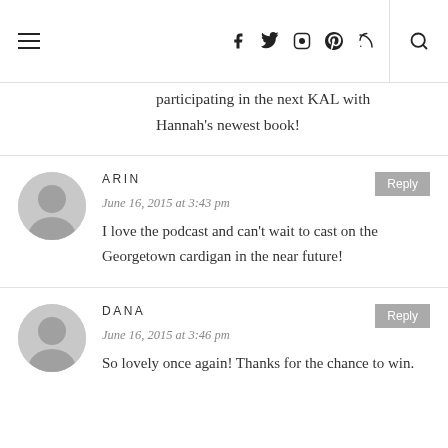Navigation header with menu, social icons, and search
participating in the next KAL with Hannah's newest book!
ARIN
June 16, 2015 at 3:43 pm
I love the podcast and can't wait to cast on the Georgetown cardigan in the near future!
DANA
June 16, 2015 at 3:46 pm
So lovely once again! Thanks for the chance to win.